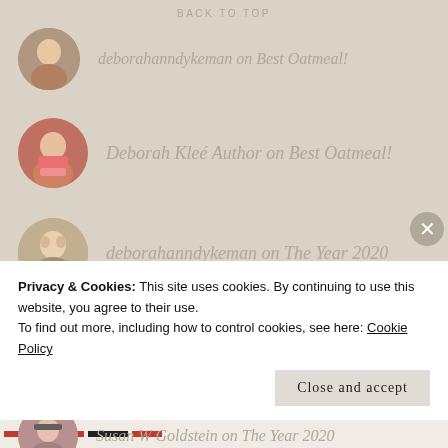BACK TO TOP
deborahanndykeman on Best Oatmeal!
Deborah Kleé Author on Best Oatmeal!
deborahanndykeman on The Year 2020
Deborah Kleé Author on The Year 2020
Susan W Goldstein on The Year 2020
Privacy & Cookies: This site uses cookies. By continuing to use this website, you agree to their use.
To find out more, including how to control cookies, see here: Cookie Policy
Close and accept